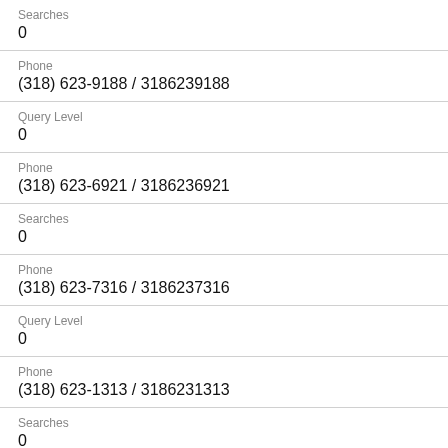Searches
0
Phone
(318) 623-9188 / 3186239188
Query Level
0
Phone
(318) 623-6921 / 3186236921
Searches
0
Phone
(318) 623-7316 / 3186237316
Query Level
0
Phone
(318) 623-1313 / 3186231313
Searches
0